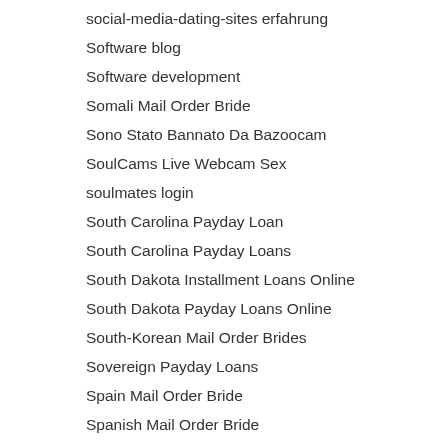social-dating-sites
social-media-dating-sites erfahrung
Software blog
Software development
Somali Mail Order Bride
Sono Stato Bannato Da Bazoocam
SoulCams Live Webcam Sex
soulmates login
South Carolina Payday Loan
South Carolina Payday Loans
South Dakota Installment Loans Online
South Dakota Payday Loans Online
South-Korean Mail Order Brides
Sovereign Payday Loans
Spain Mail Order Bride
Spanish Mail Order Bride